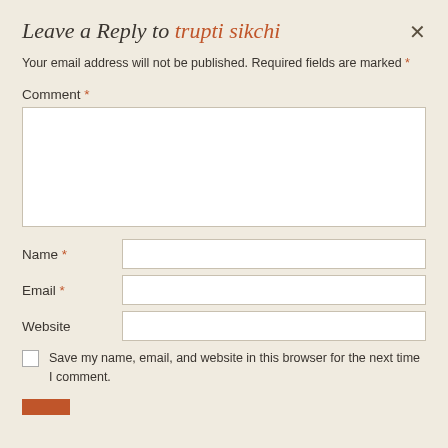Leave a Reply to trupti sikchi
Your email address will not be published. Required fields are marked *
Comment *
Name *
Email *
Website
Save my name, email, and website in this browser for the next time I comment.